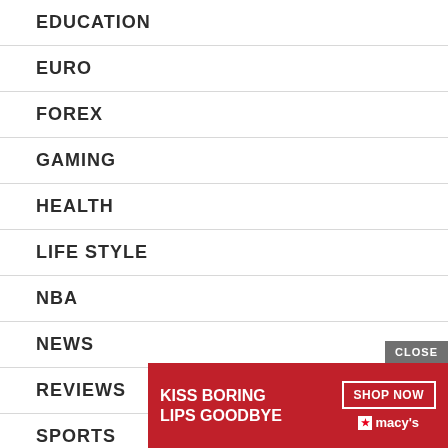EDUCATION
EURO
FOREX
GAMING
HEALTH
LIFE STYLE
NBA
NEWS
REVIEWS
SPORTS
SWITZ...
TREND...
[Figure (other): Advertisement banner for Macy's cosmetics: 'KISS BORING LIPS GOODBYE' with SHOP NOW button and Macy's star logo on red background with model photo]
CLOSE